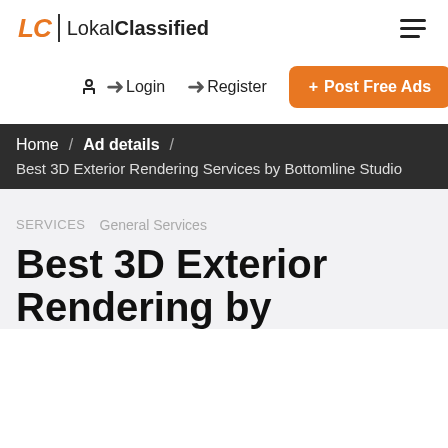LC | LokalClassified
Login   Register
+ Post Free Ads
Home / Ad details / Best 3D Exterior Rendering Services by Bottomline Studio
SERVICES   General Services
Best 3D Exterior Rendering Services by